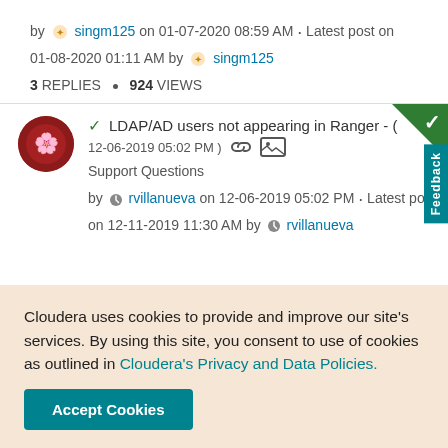by singm125 on 01-07-2020 08:59 AM • Latest post on 01-08-2020 01:11 AM by singm125
3 REPLIES • 924 VIEWS
✓ LDAP/AD users not appearing in Ranger - ( 12-06-2019 05:02 PM ) Support Questions
by rvillanueva on 12-06-2019 05:02 PM • Latest post on 12-11-2019 11:30 AM by rvillanueva
Cloudera uses cookies to provide and improve our site's services. By using this site, you consent to use of cookies as outlined in Cloudera's Privacy and Data Policies.